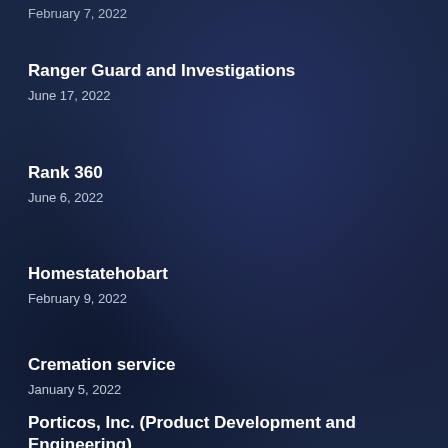February 7, 2022
Ranger Guard and Investigations
June 17, 2022
Rank 360
June 6, 2022
Homestatehobart
February 9, 2022
Cremation service
January 5, 2022
Porticos, Inc. (Product Development and Engineering)